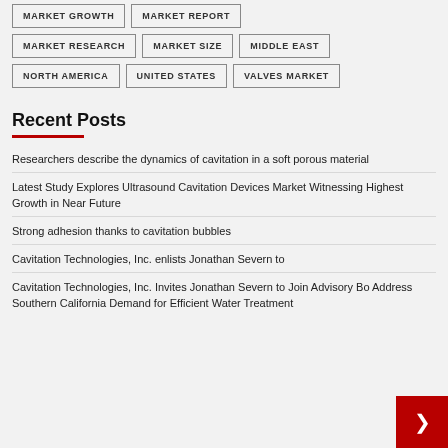MARKET GROWTH
MARKET REPORT
MARKET RESEARCH
MARKET SIZE
MIDDLE EAST
NORTH AMERICA
UNITED STATES
VALVES MARKET
Recent Posts
Researchers describe the dynamics of cavitation in a soft porous material
Latest Study Explores Ultrasound Cavitation Devices Market Witnessing Highest Growth in Near Future
Strong adhesion thanks to cavitation bubbles
Cavitation Technologies, Inc. enlists Jonathan Severn to
Cavitation Technologies, Inc. Invites Jonathan Severn to Join Advisory Bo Address Southern California Demand for Efficient Water Treatment